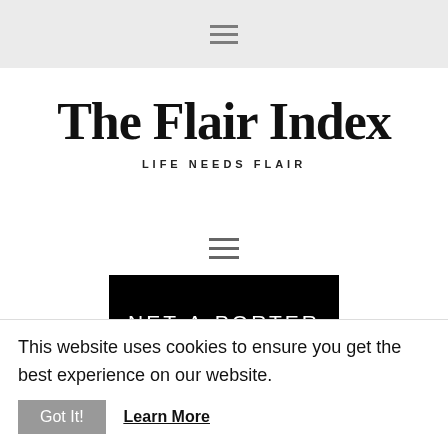≡ (hamburger menu icon)
The Flair Index
LIFE NEEDS FLAIR
[Figure (other): Hamburger menu icon (three horizontal lines) in the center of the page]
[Figure (logo): NET-A-PORTER logo: white text on black rectangular background]
TFI may earn a commission through product links on
This website uses cookies to ensure you get the best experience on our website.  Got It!  Learn More